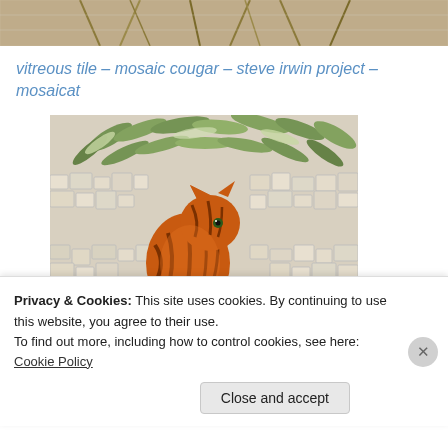[Figure (photo): Top cropped portion of a mosaic artwork showing dried grass/wheat-like material and mosaic tile background]
vitreous tile – mosaic cougar – steve irwin project – mosaicat
[Figure (photo): Mosaic artwork of a cat (cougar/bengal) sitting in front of a mosaic tile background with green leaf motifs and white/grey stone tiles]
Privacy & Cookies: This site uses cookies. By continuing to use this website, you agree to their use.
To find out more, including how to control cookies, see here: Cookie Policy
Close and accept